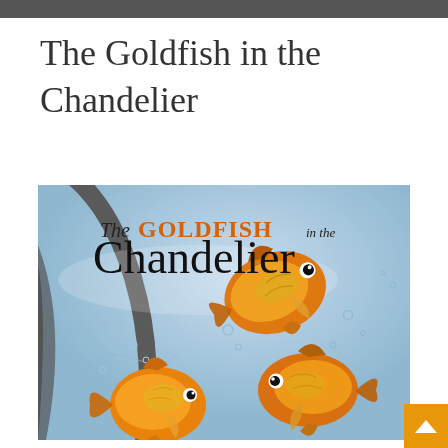The Goldfish in the Chandelier
[Figure (illustration): Book cover illustration of 'The Goldfish in the Chandelier' showing three orange goldfish swimming in a fish bowl with a blue-grey watery background and bubbles. The title text on the cover reads 'The GOLDFISH in the Chandelier' with GOLDFISH in orange/copper serif capitals and 'Chandelier' in large black serif text.]